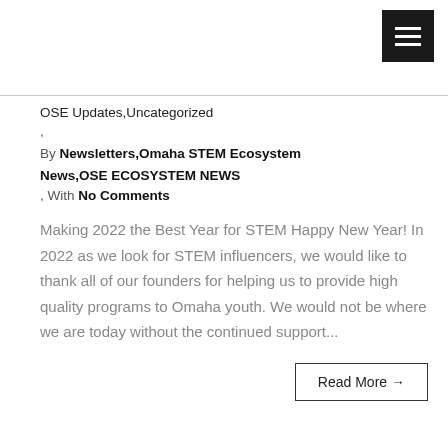[Figure (other): Hamburger menu button icon (three horizontal white lines on black square background)]
OSE Updates,Uncategorized
,
By Newsletters,Omaha STEM Ecosystem News,OSE ECOSYSTEM NEWS
, With No Comments
Making 2022 the Best Year for STEM Happy New Year! In 2022 as we look for STEM influencers, we would like to thank all of our founders for helping us to provide high quality programs to Omaha youth. We would not be where we are today without the continued support...
Read More →